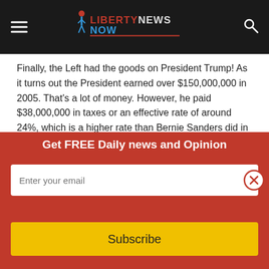Liberty News Now
Finally, the Left had the goods on President Trump! As it turns out the President earned over $150,000,000 in 2005. That's a lot of money. However, he paid $38,000,000 in taxes or an effective rate of around 24%, which is a higher rate than Bernie Sanders did in 2014 or President Obama in 2015. Not much damning information here, unless the story is Donald Trump is a rich man.
The real story is not about how much tax Donald Trump paid. It's about criminality and privacy. To publicize anyone's tax...
Get FREE Daily news and Opinion
Subscribe